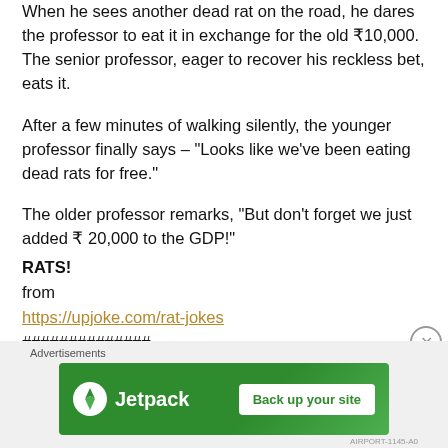When he sees another dead rat on the road, he dares the professor to eat it in exchange for the old ₹10,000. The senior professor, eager to recover his reckless bet, eats it.
After a few minutes of walking silently, the younger professor finally says – "Looks like we've been eating dead rats for free."
The older professor remarks, "But don't forget we just added ₹ 20,000 to the GDP!"
RATS!
from
https://upjoke.com/rat-jokes
##############
[Figure (infographic): Jetpack advertisement banner with 'Back up your site' button on green background]